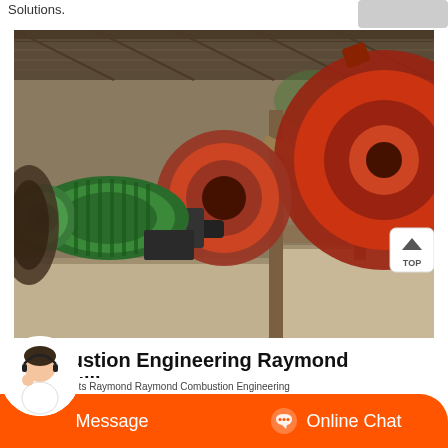Solutions.
[Figure (photo): Industrial ball mill machinery with green electric motor, large red gear wheels, and structural metal framework under a covered shed with concrete base]
Combustion Engineering Raymond Bowl Mill
Message
Online Chat
Engineering parts Raymond Raymond Combustion Engineering